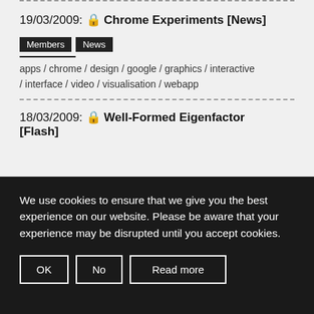19/03/2009: 🔒 Chrome Experiments [News]
Members
News
apps / chrome / design / google / graphics / interactive / interface / video / visualisation / webapp
18/03/2009: 🔒 Well-Formed Eigenfactor [Flash]
We use cookies to ensure that we give you the best experience on our website. Please be aware that your experience may be disrupted until you accept cookies.
OK  No  Read more